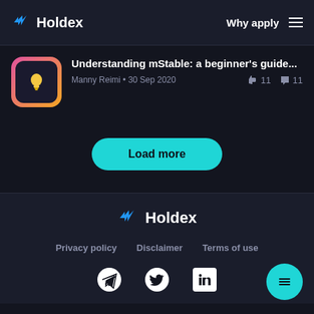Holdex   Why apply
Understanding mStable: a beginner's guide...
Manny Reimi • 30 Sep 2020   👍 11   💬 11
Load more
Holdex   Privacy policy   Disclaimer   Terms of use